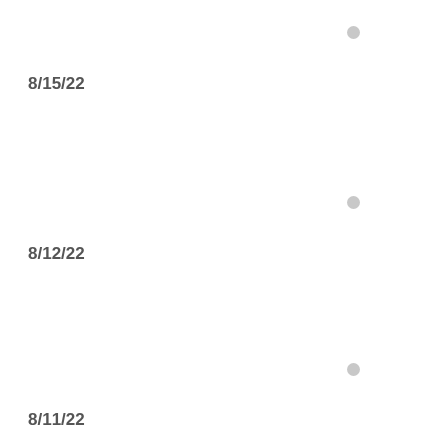8/15/22
8/12/22
8/11/22
8/10/22
8/9/22
8/8/22